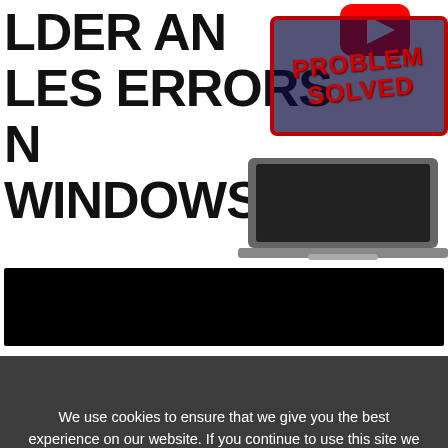LDER AN LES ERRORS N WINDOWS 10
[Figure (screenshot): YouTube play button icon (red with white triangle)]
[Figure (screenshot): PROBLEM SOLVED stamp overlay in red on dark background, with laptop image]
[Figure (screenshot): Black bar (redacted/censored content area)]
[Figure (infographic): Row of social share icons: Facebook, Twitter, Reddit, Pinterest, Email, WhatsApp, Messenger, Telegram]
Toyah Marks    January 23,
We use cookies to ensure that we give you the best experience on our website. If you continue to use this site we will assume that you are happy with it.
Ok